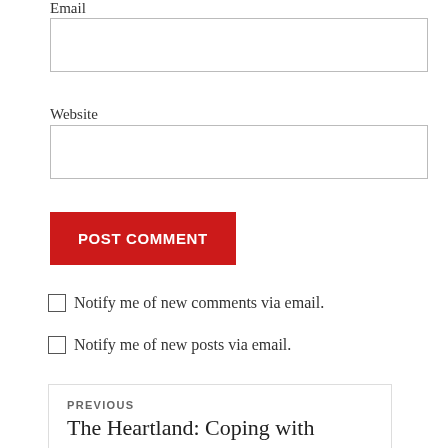Email
[Figure (other): Email input field (empty text box)]
Website
[Figure (other): Website input field (empty text box)]
POST COMMENT
Notify me of new comments via email.
Notify me of new posts via email.
PREVIOUS
The Heartland: Coping with